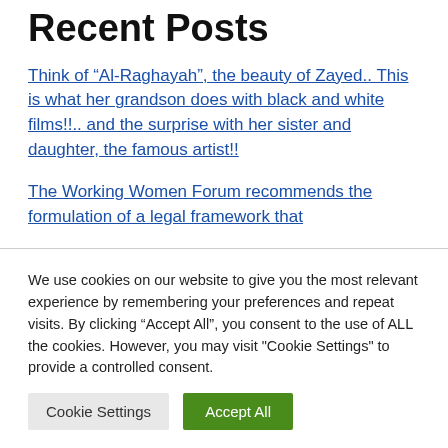Recent Posts
Think of “Al-Raghayah”, the beauty of Zayed.. This is what her grandson does with black and white films!!.. and the surprise with her sister and daughter, the famous artist!!
The Working Women Forum recommends the formulation of a legal framework that
We use cookies on our website to give you the most relevant experience by remembering your preferences and repeat visits. By clicking “Accept All”, you consent to the use of ALL the cookies. However, you may visit "Cookie Settings" to provide a controlled consent.